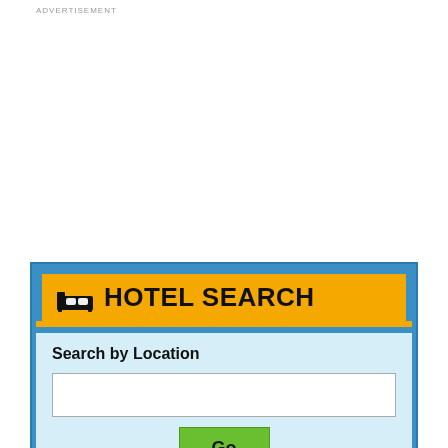ADVERTISEMENT
[Figure (screenshot): Hotel Search widget with orange header bar showing bed icon and 'HOTEL SEARCH' title, blue background, light blue body section with 'Search by Location' label, a white input text box, a green 'Go' button, and 'Search by Places' label at the bottom.]